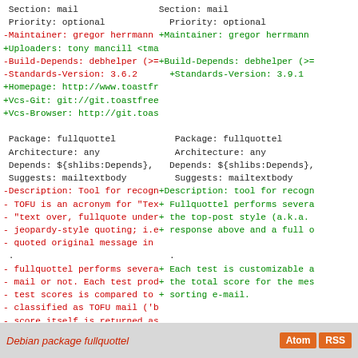Diff view of debian control file for fullquottel package showing removed (red) and added (green) lines. Left column shows old version, right column shows new version.
Debian package fullquottel | Atom | RSS